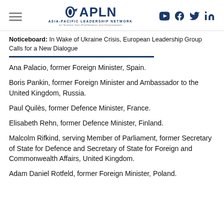APLN - Asia-Pacific Leadership Network
Noticeboard: In Wake of Ukraine Crisis, European Leadership Group Calls for a New Dialogue
Ana Palacio, former Foreign Minister, Spain.
Boris Pankin, former Foreign Minister and Ambassador to the United Kingdom, Russia.
Paul Quilès, former Defence Minister, France.
Elisabeth Rehn, former Defence Minister, Finland.
Malcolm Rifkind, serving Member of Parliament, former Secretary of State for Defence and Secretary of State for Foreign and Commonwealth Affairs, United Kingdom.
Adam Daniel Rotfeld, former Foreign Minister, Poland.